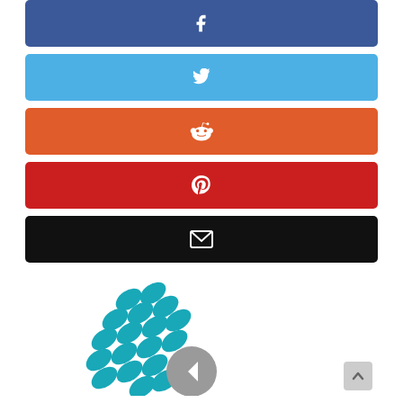[Figure (infographic): Social media sharing buttons: Facebook (dark blue), Twitter (light blue), Reddit (orange), Pinterest (red), Email (black), LinkedIn (blue), each as a colored rounded rectangle with a white icon centered]
[Figure (logo): Teal/cyan ellipse-dot pattern logo resembling a comet or stylized letter, with a gray circular back-arrow navigation button overlaid at bottom right]